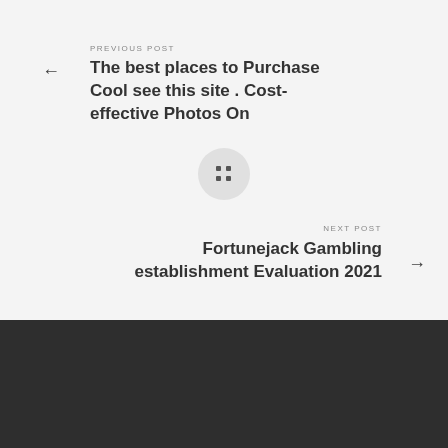PREVIOUS POST
The best places to Purchase Cool see this site . Cost-effective Photos On
[Figure (other): Grid/home navigation button: circular grey button with four square dots arranged in a 2x2 grid]
NEXT POST
Fortunejack Gambling establishment Evaluation 2021
[Figure (other): Circular up/scroll-to-top button with upward arrow, dark outline circle]
© 2021 Oxalis Studios | All Rights Reserved